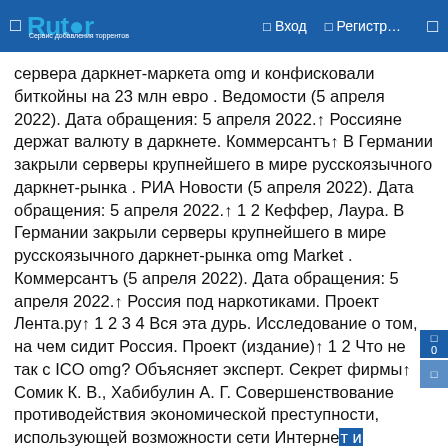Rutor — Вход — Регистр…
сервера даркнет-маркета omg и конфисковали биткойны на 23 млн евро . Ведомости (5 апреля 2022). Дата обращения: 5 апреля 2022.↑ Россияне держат валюту в даркнете. Коммерсантъ↑ В Германии закрыли серверы крупнейшего в мире русскоязычного даркнет-рынка . РИА Новости (5 апреля 2022). Дата обращения: 5 апреля 2022.↑ 1 2 Кеффер, Лаура. В Германии закрыли серверы крупнейшего в мире русскоязычного даркнет-рынка omg Market . Коммерсантъ (5 апреля 2022). Дата обращения: 5 апреля 2022.↑ Россия под наркотиками. Проект Лента.ру↑ 1 2 3 4 Вся эта дурь. Исследование о том, на чем сидит Россия. Проект (издание)↑ 1 2 Что не так с ICO omg? Объясняет эксперт. Секрет фирмы↑ Сомик К. В., Хабибулин А. Г. Совершенствование противодействия экономической преступности, использующей возможности сети Интернет и криптографических средств // Теория государства и права, том 20, № 4, С. 220-232↑ В Москве вручили Премию Рунета-2019. Российская газета↑ Главред "Ленты.Ру" отверг обвинения в скрытой рекламе наркоплощадки omg. Инфо /